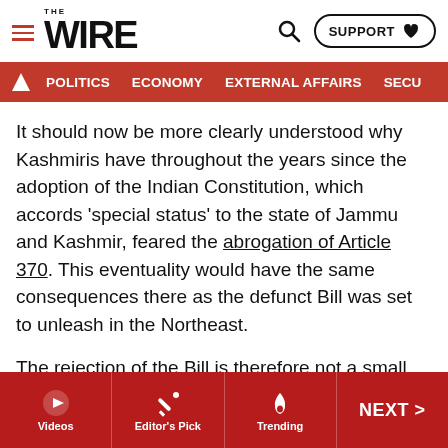THE WIRE — SUPPORT | POLITICS | ECONOMY | EXTERNAL AFFAIRS | SECU...
It should now be more clearly understood why Kashmiris have throughout the years since the adoption of the Indian Constitution, which accords 'special status' to the state of Jammu and Kashmir, feared the abrogation of Article 370. This eventuality would have the same consequences there as the defunct Bill was set to unleash in the Northeast.
The rejection of the Bill is therefore not a small matter; it expresses the firm resolve of Indian masses to say no to any such assault that may be calculated to frontally overthrow the founding principles of the Constitution and reconstitute the republic into a theocracy.
Videos | Editor's Pick | Trending | NEXT >